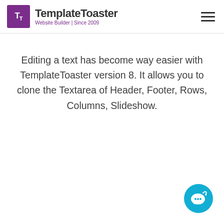TemplateToaster — Website Builder | Since 2009
Editing a text has become way easier with TemplateToaster version 8. It allows you to clone the Textarea of Header, Footer, Rows, Columns, Slideshow.
[Figure (illustration): Teal circular chat bubble button icon with speech bubble and sparkle, used as a live chat widget button in the bottom-right corner]